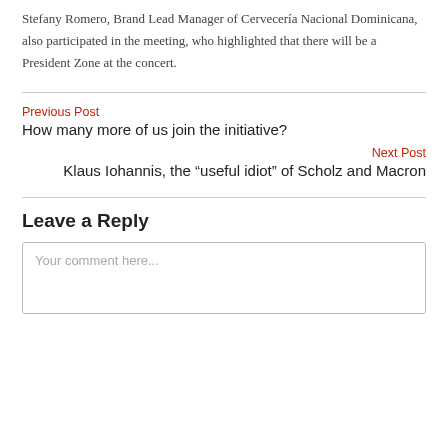Stefany Romero, Brand Lead Manager of Cervecería Nacional Dominicana, also participated in the meeting, who highlighted that there will be a President Zone at the concert.
Previous Post
How many more of us join the initiative?
Next Post
Klaus Iohannis, the “useful idiot” of Scholz and Macron
Leave a Reply